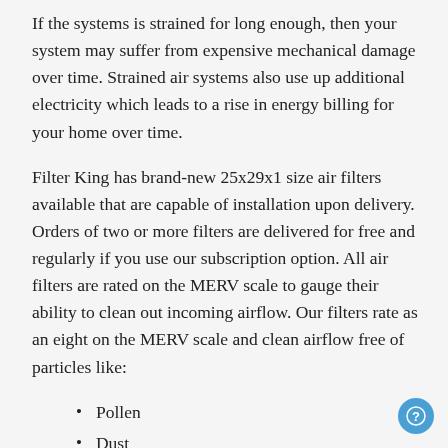If the systems is strained for long enough, then your system may suffer from expensive mechanical damage over time. Strained air systems also use up additional electricity which leads to a rise in energy billing for your home over time.
Filter King has brand-new 25x29x1 size air filters available that are capable of installation upon delivery. Orders of two or more filters are delivered for free and regularly if you use our subscription option. All air filters are rated on the MERV scale to gauge their ability to clean out incoming airflow. Our filters rate as an eight on the MERV scale and clean airflow free of particles like:
Pollen
Dust
Mold
Dust Mites